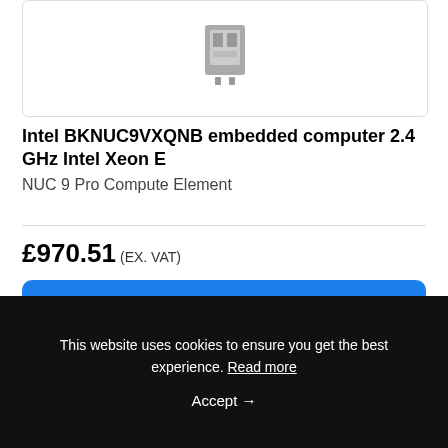[Figure (photo): Product image of Intel BKNUC9VXQNB embedded computer partially visible at top of card]
Intel BKNUC9VXQNB embedded computer 2.4 GHz Intel Xeon E
NUC 9 Pro Compute Element
£970.51 (EX. VAT)
View
This website uses cookies to ensure you get the best experience. Read more
Accept →